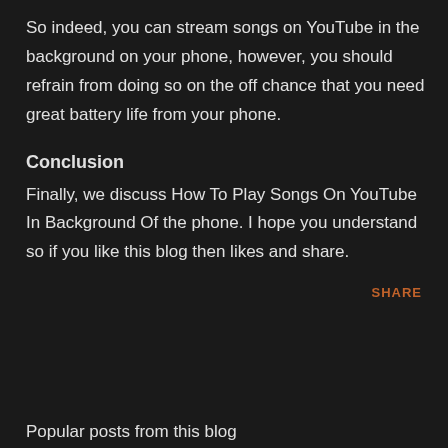So indeed, you can stream songs on YouTube in the background on your phone, however, you should refrain from doing so on the off chance that you need great battery life from your phone.
Conclusion
Finally, we discuss How To Play Songs On YouTube In Background Of the phone. I hope you understand so if you like this blog then likes and share.
SHARE
Popular posts from this blog